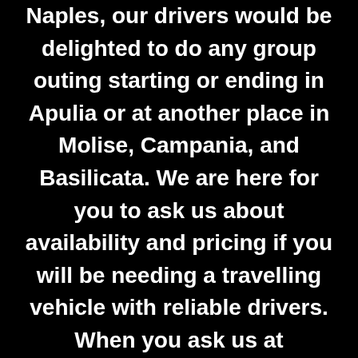Naples, our drivers would be delighted to do any group outing starting or ending in Apulia or at another place in Molise, Campania, and Basilicata. We are here for you to ask us about availability and pricing if you will be needing a travelling vehicle with reliable drivers. When you ask us at info@napolibus.com about an eventually upcoming coach